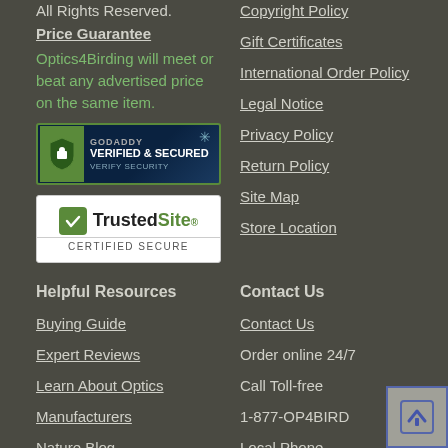All Rights Reserved.
Price Guarantee
Optics4Birding will meet or beat any advertised price on the same item.
[Figure (logo): GoDaddy Verified & Secured badge with shield icon and 'VERIFY SECURITY' text]
[Figure (logo): TrustedSite Certified Secure badge with green checkmark]
Copyright Policy
Gift Certificates
International Order Policy
Legal Notice
Privacy Policy
Return Policy
Site Map
Store Location
Helpful Resources
Contact Us
Buying Guide
Contact Us
Expert Reviews
Order online 24/7
Learn About Optics
Call Toll-free
Manufacturers
1-877-OP4BIRD
Nature Blog
Local Phone